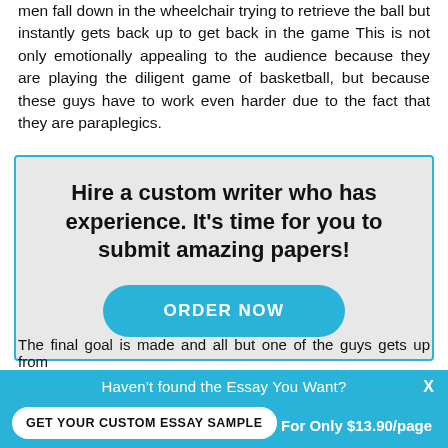men fall down in the wheelchair trying to retrieve the ball but instantly gets back up to get back in the game This is not only emotionally appealing to the audience because they are playing the diligent game of basketball, but because these guys have to work even harder due to the fact that they are paraplegics.
[Figure (infographic): Advertisement box with teal border on gray background. Text: 'Hire a custom writer who has experience. It's time for you to submit amazing papers!' with a teal 'ORDER NOW' button.]
The final goal is made and all but one of the guys gets up from
[Figure (infographic): Bottom banner ad in teal: 'Haven't found the Essay You Want?' with a white pill button 'GET YOUR CUSTOM ESSAY SAMPLE' and text 'For Only $13.90/page' and an X close button.]